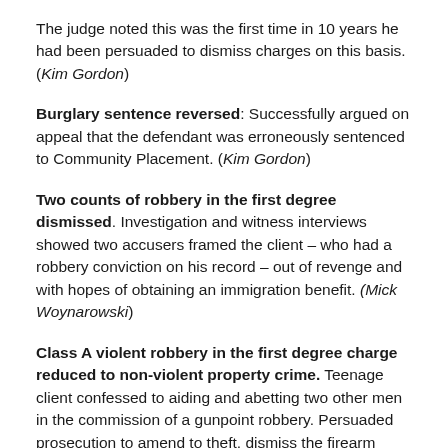The judge noted this was the first time in 10 years he had been persuaded to dismiss charges on this basis. (Kim Gordon)
Burglary sentence reversed: Successfully argued on appeal that the defendant was erroneously sentenced to Community Placement. (Kim Gordon)
Two counts of robbery in the first degree dismissed. Investigation and witness interviews showed two accusers framed the client – who had a robbery conviction on his record – out of revenge and with hopes of obtaining an immigration benefit. (Mick Woynarowski)
Class A violent robbery in the first degree charge reduced to non-violent property crime. Teenage client confessed to aiding and abetting two other men in the commission of a gunpoint robbery. Persuaded prosecution to amend to theft, dismiss the firearm enhancement, and jointly recommend six months jail